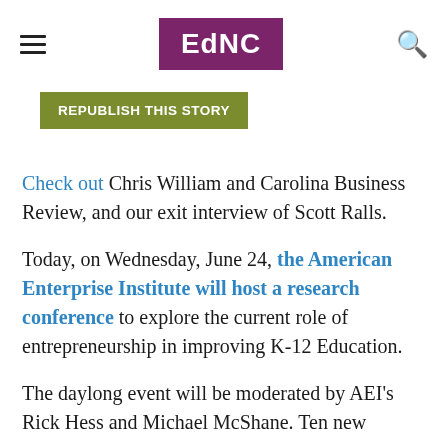EdNC
REPUBLISH THIS STORY
Check out Chris William and Carolina Business Review, and our exit interview of Scott Ralls.
Today, on Wednesday, June 24, the American Enterprise Institute will host a research conference to explore the current role of entrepreneurship in improving K-12 Education.
The daylong event will be moderated by AEI's Rick Hess and Michael McShane. Ten new